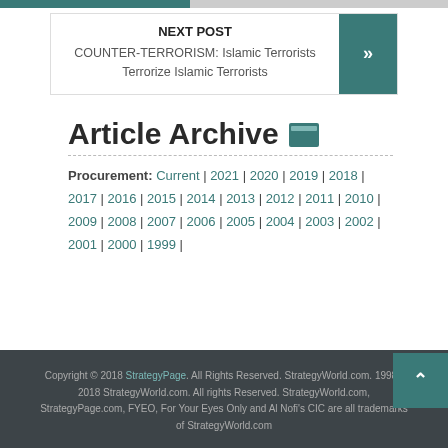NEXT POST
COUNTER-TERRORISM: Islamic Terrorists Terrorize Islamic Terrorists
Article Archive
Procurement: Current | 2021 | 2020 | 2019 | 2018 | 2017 | 2016 | 2015 | 2014 | 2013 | 2012 | 2011 | 2010 | 2009 | 2008 | 2007 | 2006 | 2005 | 2004 | 2003 | 2002 | 2001 | 2000 | 1999 |
Copyright © 2018 StrategyPage. All Rights Reserved. StrategyWorld.com. 1998 - 2018 StrategyWorld.com. All rights Reserved. StrategyWorld.com, StrategyPage.com, FYEO, For Your Eyes Only and Al Nofi's CIC are all trademarks of StrategyWorld.com